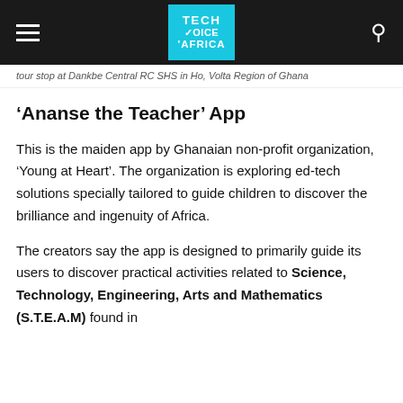Tech Voice Africa
tour stop at Bankbe Central RC SHS in Ho, Volta Region of Ghana
‘Ananse the Teacher’ App
This is the maiden app by Ghanaian non-profit organization, ‘Young at Heart’. The organization is exploring ed-tech solutions specially tailored to guide children to discover the brilliance and ingenuity of Africa.
The creators say the app is designed to primarily guide its users to discover practical activities related to Science, Technology, Engineering, Arts and Mathematics (S.T.E.A.M) found in